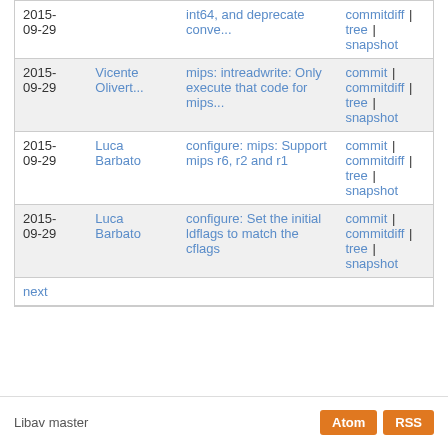| Date | Author | Description | Links |
| --- | --- | --- | --- |
| 2015-09-29 |  | int64, and deprecate conve... | commitdiff | tree | snapshot |
| 2015-09-29 | Vicente Olivert... | mips: intreadwrite: Only execute that code for mips... | commit | commitdiff | tree | snapshot |
| 2015-09-29 | Luca Barbato | configure: mips: Support mips r6, r2 and r1 | commit | commitdiff | tree | snapshot |
| 2015-09-29 | Luca Barbato | configure: Set the initial ldflags to match the cflags | commit | commitdiff | tree | snapshot |
next
Libav master